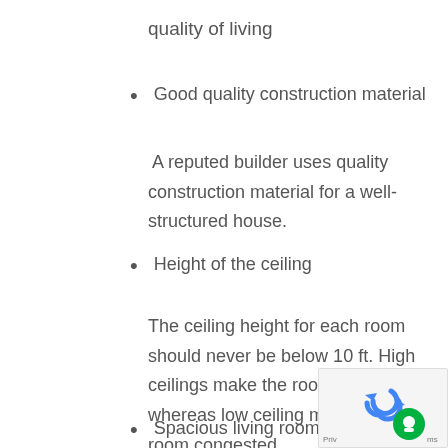quality of living
Good quality construction material
A reputed builder uses quality construction material for a well-structured house.
Height of the ceiling
The ceiling height for each room should never be below 10 ft. High ceilings make the room spacious, whereas low ceiling makes the room congested.
Spacious living rooms
[Figure (other): reCAPTCHA privacy widget overlay in bottom-right corner]